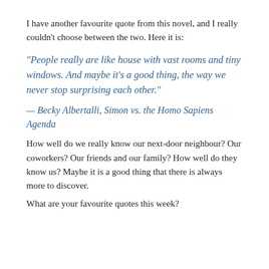I have another favourite quote from this novel, and I really couldn't choose between the two. Here it is:
“People really are like house with vast rooms and tiny windows. And maybe it’s a good thing, the way we never stop surprising each other.”
— Becky Albertalli, Simon vs. the Homo Sapiens Agenda
How well do we really know our next-door neighbour? Our coworkers? Our friends and our family? How well do they know us? Maybe it is a good thing that there is always more to discover.
What are your favourite quotes this week?